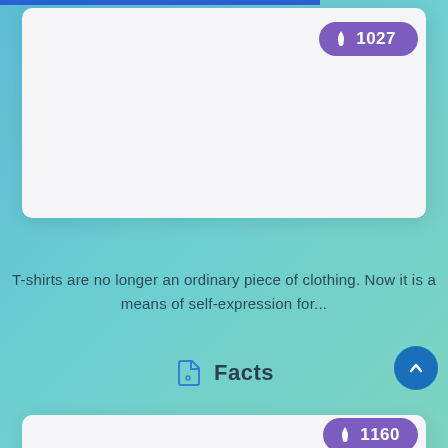[Figure (screenshot): White card area at top of screen (content area, partially visible)]
1027
T-shirts are no longer an ordinary piece of clothing. Now it is a means of self-expression for...
Facts
[Figure (screenshot): White card area at bottom of screen (partially visible), with badge showing 1160]
1160